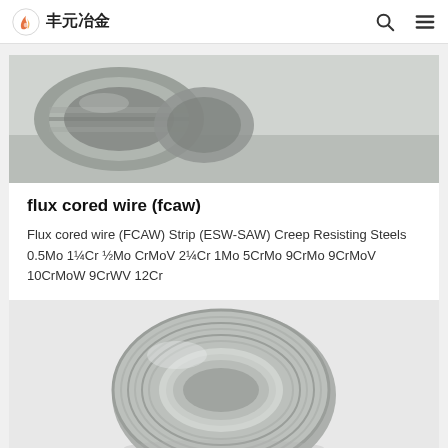丰元冶金
[Figure (photo): Photo of rolled flux cored wire (FCAW) strips on a steel surface]
flux cored wire (fcaw)
Flux cored wire (FCAW) Strip (ESW-SAW) Creep Resisting Steels 0.5Mo 1¼Cr ½Mo CrMoV 2¼Cr 1Mo 5CrMo 9CrMo 9CrMoV 10CrMoW 9CrWV 12Cr
[Figure (photo): Photo of a coil of flux cored wire (E501T1)]
E501T1 Flux cored wire